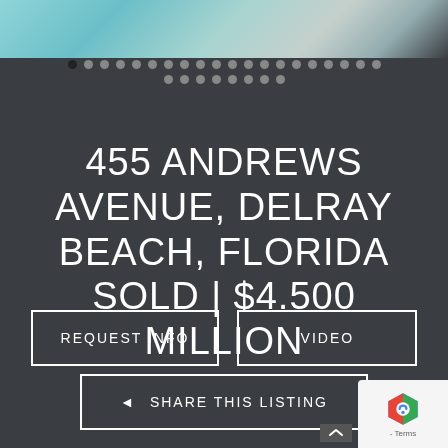[Figure (photo): Aerial or pool photo of a luxury property, mostly teal/blue water tones at the top]
[Figure (infographic): Carousel dot navigation indicator showing 27 dots, first dot filled/dark (active)]
455 ANDREWS AVENUE, DELRAY BEACH, FLORIDA SOLD | $4.500 MILLION
REQUEST INFO
VIDEO
SHARE THIS LISTING